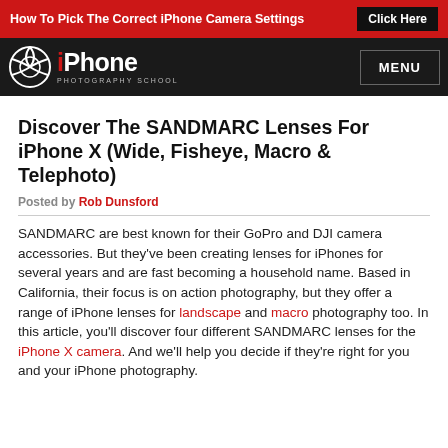How To Pick The Correct iPhone Camera Settings  Click Here
[Figure (logo): iPhone Photography School logo with camera shutter icon and site name]
Discover The SANDMARC Lenses For iPhone X (Wide, Fisheye, Macro & Telephoto)
Posted by Rob Dunsford
SANDMARC are best known for their GoPro and DJI camera accessories. But they've been creating lenses for iPhones for several years and are fast becoming a household name. Based in California, their focus is on action photography, but they offer a range of iPhone lenses for landscape and macro photography too. In this article, you'll discover four different SANDMARC lenses for the iPhone X camera. And we'll help you decide if they're right for you and your iPhone photography.